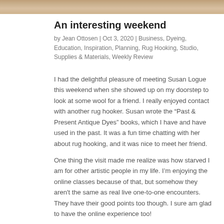[Figure (photo): Partial photograph of a rug or textile with warm brown tones, cropped at the top of the page.]
An interesting weekend
by Jean Ottosen | Oct 3, 2020 | Business, Dyeing, Education, Inspiration, Planning, Rug Hooking, Studio, Supplies & Materials, Weekly Review
I had the delightful pleasure of meeting Susan Logue this weekend when she showed up on my doorstep to look at some wool for a friend. I really enjoyed contact with another rug hooker. Susan wrote the “Past & Present Antique Dyes” books, which I have and have used in the past. It was a fun time chatting with her about rug hooking, and it was nice to meet her friend.
One thing the visit made me realize was how starved I am for other artistic people in my life. I’m enjoying the online classes because of that, but somehow they aren't the same as real live one-to-one encounters. They have their good points too though. I sure am glad to have the online experience too!